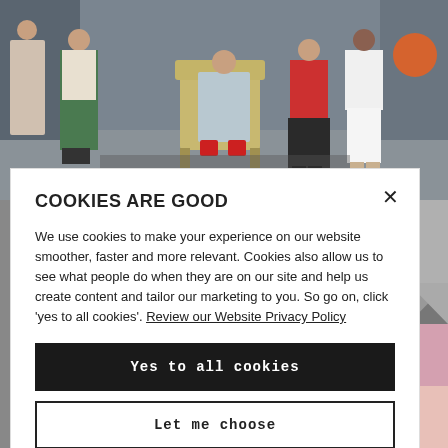[Figure (photo): Group of people standing and sitting in an office/lobby setting around an ornate chair. One man is seated in the chair wearing red shoes; others stand around him.]
COOKIES ARE GOOD
We use cookies to make your experience on our website smoother, faster and more relevant. Cookies also allow us to see what people do when they are on our site and help us create content and tailor our marketing to you. So go on, click 'yes to all cookies'. Review our Website Privacy Policy
Yes to all cookies
Let me choose